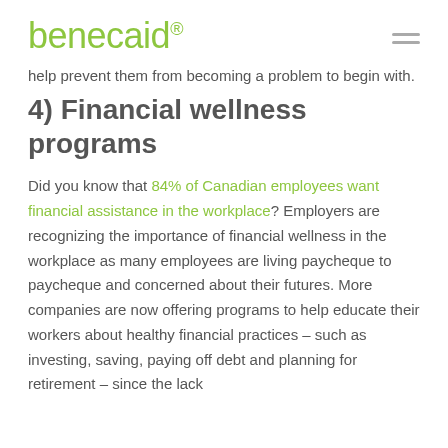benecaid®
help prevent them from becoming a problem to begin with.
4) Financial wellness programs
Did you know that 84% of Canadian employees want financial assistance in the workplace? Employers are recognizing the importance of financial wellness in the workplace as many employees are living paycheque to paycheque and concerned about their futures. More companies are now offering programs to help educate their workers about healthy financial practices – such as investing, saving, paying off debt and planning for retirement – since the lack